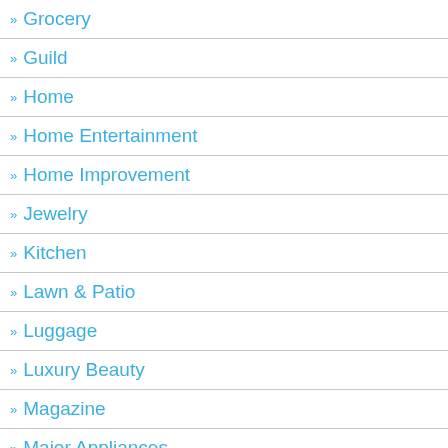Grocery
Guild
Home
Home Entertainment
Home Improvement
Jewelry
Kitchen
Lawn & Patio
Luggage
Luxury Beauty
Magazine
Major Appliances
Mobile Applications